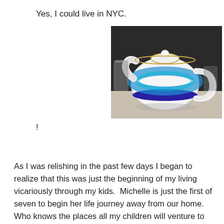Yes, I could live in NYC.
[Figure (photo): A decorative teapot with a blue and turquoise pattern, white body, sitting on a table with other tableware in the background.]
!
As I was relishing in the past few days I began to realize that this was just the beginning of my living vicariously through my kids.  Michelle is just the first of seven to begin her life journey away from our home.  Who knows the places all my children will venture to and the things that they will do, see and experience as they follow the Lord's leading in their lives.  Perhaps living life through your